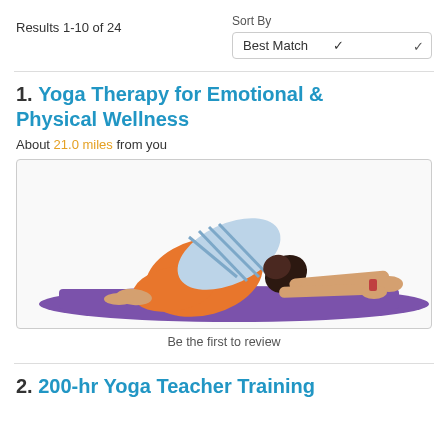Results 1-10 of 24
Sort By
Best Match
1. Yoga Therapy for Emotional & Physical Wellness
About 21.0 miles from you
[Figure (photo): Person in child's pose on a purple yoga mat, wearing orange pants and a striped shirt]
Be the first to review
2. 200-hr Yoga Teacher Training